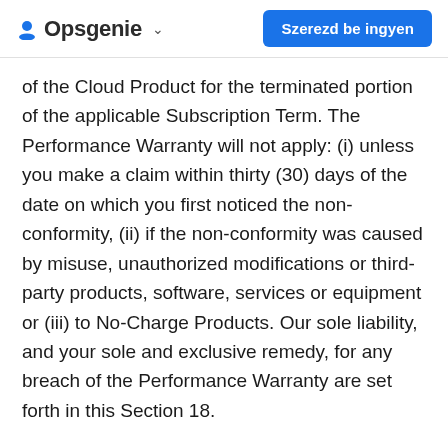Opsgenie  Szerezd be ingyen
of the Cloud Product for the terminated portion of the applicable Subscription Term. The Performance Warranty will not apply: (i) unless you make a claim within thirty (30) days of the date on which you first noticed the non-conformity, (ii) if the non-conformity was caused by misuse, unauthorized modifications or third-party products, software, services or equipment or (iii) to No-Charge Products. Our sole liability, and your sole and exclusive remedy, for any breach of the Performance Warranty are set forth in this Section 18.
18.4. WARRANTY DISCLAIMER. EXCEPT AS EXPRESSLY PROVIDED IN THIS SECTION 18, ALL CLOUD PRODUCTS, SUPPORT AND ADDITIONAL SERVICES ARE PROVIDED